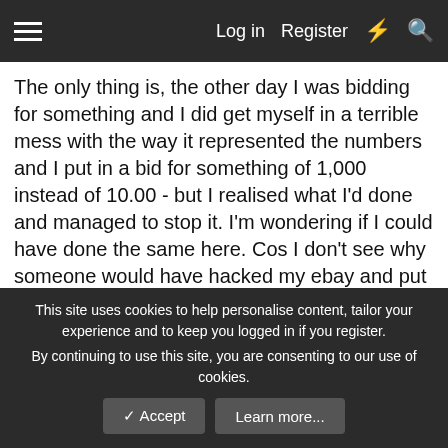Log in   Register
The only thing is, the other day I was bidding for something and I did get myself in a terrible mess with the way it represented the numbers and I put in a bid for something of 1,000 instead of 10.00 - but I realised what I'd done and managed to stop it. I'm wondering if I could have done the same here. Cos I don't see why someone would have hacked my ebay and put a bid in on a random garage records - and one I actually happen to want, it's both a strange thing to do and a big coincidence.
◄◄  ◄ Prev  13 of 23  Next ►  ►►
You must log in or register to reply here.
Share
This site uses cookies to help personalise content, tailor your experience and to keep you logged in if you register.
By continuing to use this site, you are consenting to our use of cookies.
✓ Accept   Learn more...